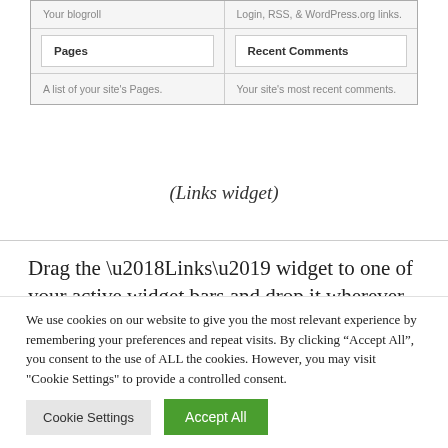| Your blogroll | Login, RSS, & WordPress.org links. |
| Pages | Recent Comments |
| A list of your site's Pages. | Your site's most recent comments. |
(Links widget)
Drag the ‘Links’ widget to one of your active widget bars and drop it wherever you want the
We use cookies on our website to give you the most relevant experience by remembering your preferences and repeat visits. By clicking “Accept All”, you consent to the use of ALL the cookies. However, you may visit "Cookie Settings" to provide a controlled consent.